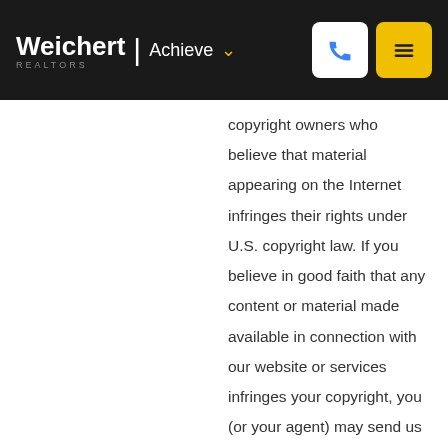Weichert | Achieve
copyright owners who believe that material appearing on the Internet infringes their rights under U.S. copyright law. If you believe in good faith that any content or material made available in connection with our website or services infringes your copyright, you (or your agent) may send us a notice requesting that the content or material be removed, or access to it blocked. Notices and